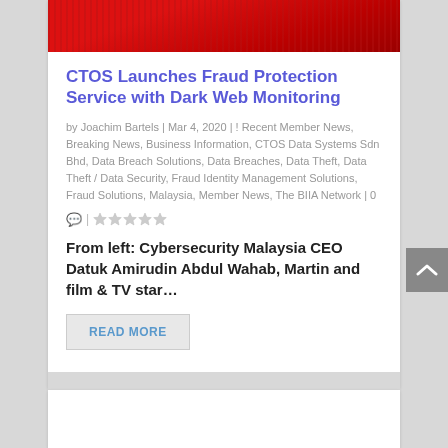[Figure (photo): Partial red-themed banner image at top of article card, cropped at top]
CTOS Launches Fraud Protection Service with Dark Web Monitoring
by Joachim Bartels | Mar 4, 2020 | ! Recent Member News, Breaking News, Business Information, CTOS Data Systems Sdn Bhd, Data Breach Solutions, Data Breaches, Data Theft, Data Theft / Data Security, Fraud Identity Management Solutions, Fraud Solutions, Malaysia, Member News, The BIIA Network | 0
From left: Cybersecurity Malaysia CEO Datuk Amirudin Abdul Wahab, Martin and film & TV star…
READ MORE